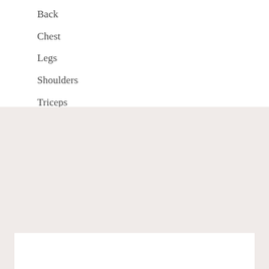Back
Chest
Legs
Shoulders
Triceps
Weight Training Programs
[Figure (other): White content box on light beige/pink background section at bottom of page]